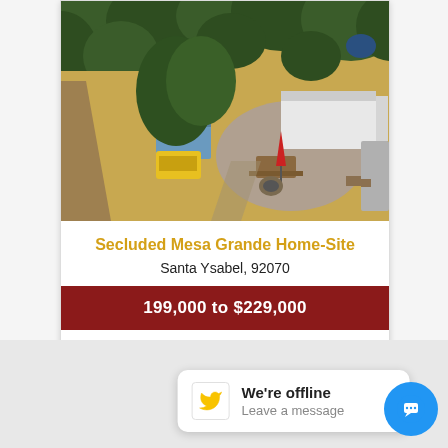[Figure (photo): Aerial drone photo of a rural property with RV/trailer, gravel area, picnic tables, trees, and dry golden grass in Santa Ysabel area.]
Secluded Mesa Grande Home-Site
Santa Ysabel, 92070
199,000 to $229,000
| Lot Size | 8.68 Acres |
| --- | --- |
We're offline
Leave a message